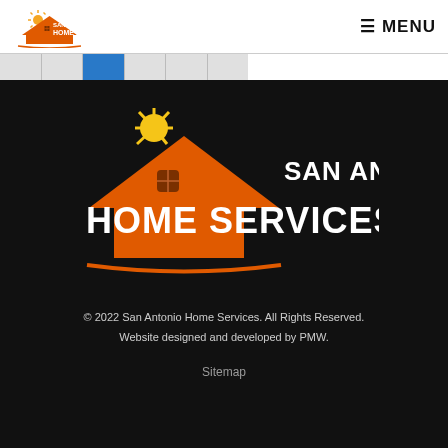SAN ANTONIO HOME SERVICES — MENU
[Figure (logo): San Antonio Home Services large logo on black background — orange house roof with sun, white bold text SAN ANTONIO HOME SERVICES]
© 2022 San Antonio Home Services. All Rights Reserved. Website designed and developed by PMW. Sitemap